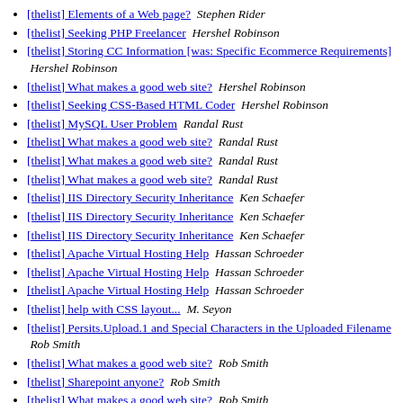[thelist] Elements of a Web page?  Stephen Rider
[thelist] Seeking PHP Freelancer  Hershel Robinson
[thelist] Storing CC Information [was: Specific Ecommerce Requirements]  Hershel Robinson
[thelist] What makes a good web site?  Hershel Robinson
[thelist] Seeking CSS-Based HTML Coder  Hershel Robinson
[thelist] MySQL User Problem  Randal Rust
[thelist] What makes a good web site?  Randal Rust
[thelist] What makes a good web site?  Randal Rust
[thelist] What makes a good web site?  Randal Rust
[thelist] IIS Directory Security Inheritance  Ken Schaefer
[thelist] IIS Directory Security Inheritance  Ken Schaefer
[thelist] IIS Directory Security Inheritance  Ken Schaefer
[thelist] Apache Virtual Hosting Help  Hassan Schroeder
[thelist] Apache Virtual Hosting Help  Hassan Schroeder
[thelist] Apache Virtual Hosting Help  Hassan Schroeder
[thelist] help with CSS layout...  M. Seyon
[thelist] Persits.Upload.1 and Special Characters in the Uploaded Filename  Rob Smith
[thelist] What makes a good web site?  Rob Smith
[thelist] Sharepoint anyone?  Rob Smith
[thelist] What makes a good web site?  Rob Smith
[thelist] help with CSS layout...  Rob Smith
[thelist] Dedicated Server Hosting  Asif Suria